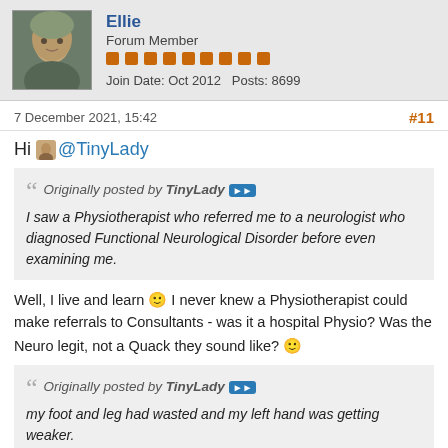Ellie
Forum Member
Join Date: Oct 2012   Posts: 8699
7 December 2021, 15:42
#11
Hi @TinyLady
Originally posted by TinyLady
I saw a Physiotherapist who referred me to a neurologist who diagnosed Functional Neurological Disorder before even examining me.
Well, I live and learn 🙂 I never knew a Physiotherapist could make referrals to Consultants - was it a hospital Physio? Was the Neuro legit, not a Quack they sound like? 🙂
Originally posted by TinyLady
my foot and leg had wasted and my left hand was getting weaker.